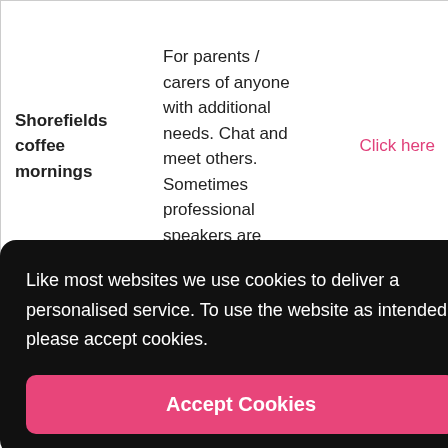| Name | Description | Link |
| --- | --- | --- |
| Shorefields coffee mornings | For parents / carers of anyone with additional needs. Chat and meet others. Sometimes professional speakers are | Click here |
Like most websites we use cookies to deliver a personalised service. To use the website as intended please accept cookies.
Accept Cookies